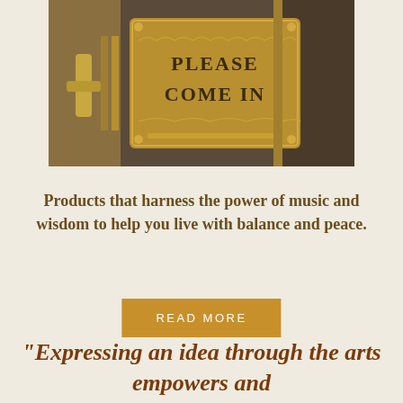[Figure (photo): A decorative brass 'Please Come In' sign on a dark door with ornate gold details]
Products that harness the power of music and wisdom to help you live with balance and peace.
READ MORE
“Expressing an idea through the arts empowers and